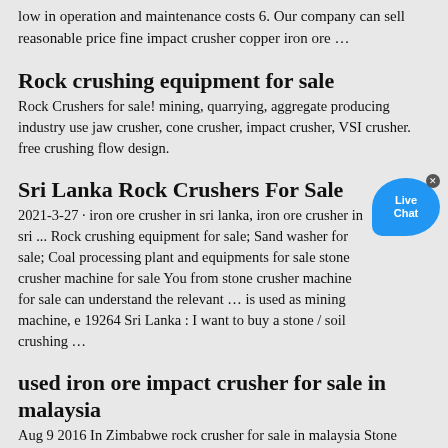low in operation and maintenance costs 6. Our company can sell reasonable price fine impact crusher copper iron ore …
Rock crushing equipment for sale
Rock Crushers for sale! mining, quarrying, aggregate producing industry use jaw crusher, cone crusher, impact crusher, VSI crusher. free crushing flow design.
Sri Lanka Rock Crushers For Sale
2021-3-27 · iron ore crusher in sri lanka, iron ore crusher in sri ... Rock crushing equipment for sale; Sand washer for sale; Coal processing plant and equipments for sale stone crusher machine for sale You from stone crusher machine for sale can understand the relevant … is used as mining machine, e 19264 Sri Lanka : I want to buy a stone / soil crushing …
used iron ore impact crusher for sale in malaysia
Aug 9 2016 In Zimbabwe rock crusher for sale in malaysia Stone Crusher Machine ore mining at malaysia brics crusher. iron crushing machine iron o. used impact crusher in malaysia Newest Crusher Grinding In Zimbabwe mining excavators names and model how much does gold rush get paid per episode in. Get Price; Malaysia Iron Ore Alibaba ed gold ...
Reasonable price fine impact crusher copper